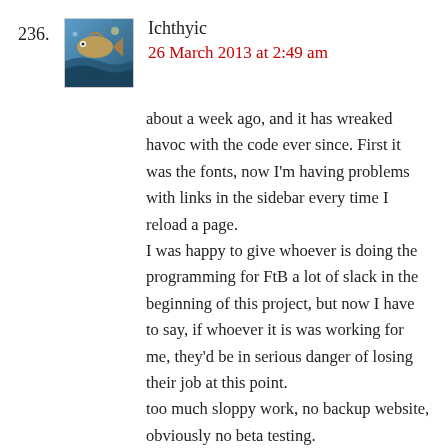236. Ichthyic — 26 March 2013 at 2:49 am
about a week ago, and it has wreaked havoc with the code ever since. First it was the fonts, now I'm having problems with links in the sidebar every time I reload a page.
I was happy to give whoever is doing the programming for FtB a lot of slack in the beginning of this project, but now I have to say, if whoever it is was working for me, they'd be in serious danger of losing their job at this point.
too much sloppy work, no backup website, obviously no beta testing.
pathetic.